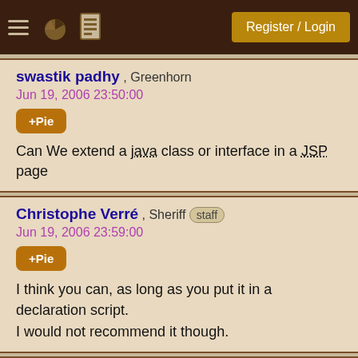Register / Login
swastik padhy , Greenhorn
Jun 19, 2006 23:50:00
+Pie
Can We extend a java class or interface in a JSP page
Christophe Verré , Sheriff staff
Jun 19, 2006 23:59:00
+Pie
I think you can, as long as you put it in a declaration script.
I would not recommend it though.
Richard Green , Ranch Hand
Jun 19, 2006 23:59:00
+Pie